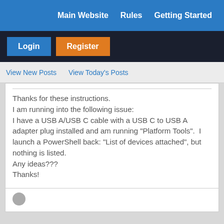Main Website   Rules   Getting Started
Login   Register
View New Posts   View Today's Posts
Thanks for these instructions.
I am running into the following issue:
I have a USB A/USB C cable with a USB C to USB A adapter plug installed and am running "Platform Tools".  I launch a PowerShell back: "List of devices attached", but nothing is listed.
Any ideas???
Thanks!
Messages In This Thread